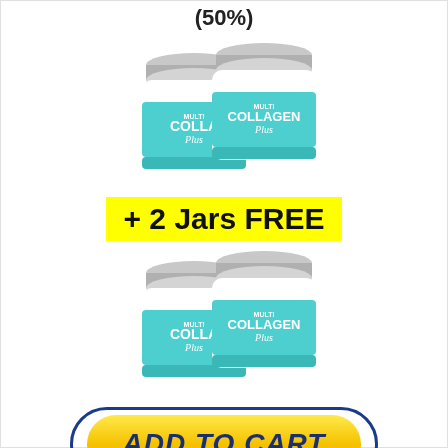(50%)
[Figure (photo): Two jars of Multi Collagen Plus supplement, teal and white containers]
+ 2 Jars FREE
[Figure (photo): Two jars of Multi Collagen Plus supplement, teal and white containers]
[Figure (infographic): Yellow ADD TO CART button with dark blue oval border]
Today's Price: $119.90
You Save: $119.90